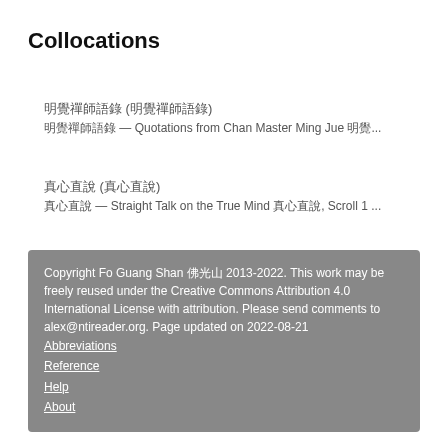Collocations
明覺禪師語錄 (明覺禪師語錄)
明覺禪師語錄 — Quotations from Chan Master Ming Jue 明覺...
真心直說 (真心直說)
真心直說 — Straight Talk on the True Mind 真心直說, Scroll 1 ...
Copyright Fo Guang Shan 佛光山 2013-2022. This work may be freely reused under the Creative Commons Attribution 4.0 International License with attribution. Please send comments to alex@ntireader.org. Page updated on 2022-08-21
Abbreviations
Reference
Help
About